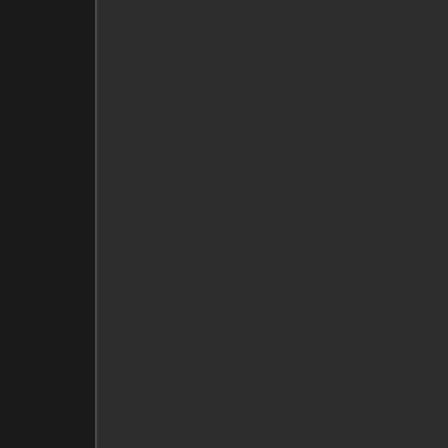There are certainly a large number of Grounds, with Foundry and likely had a budget that enabled...
Here's the text of the announcement:
Astral TableTop was creating a virtual table...
Over the years, largely choice for hundreds of experienced, it has no VTT's looking to become retire from Astral Table not be going away just as it currently is into the moment). OneBookSh be continuing to overs...
Should OneBookShelf will provide as much notice as possible to the platform (I'd expect more than enough time, shut down the service team, as well as the community and platform we all love so...